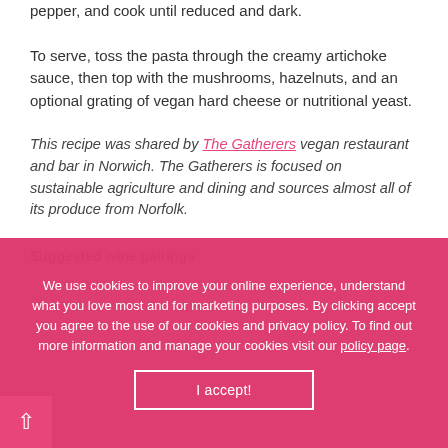pepper, and cook until reduced and dark.
To serve, toss the pasta through the creamy artichoke sauce, then top with the mushrooms, hazelnuts, and an optional grating of vegan hard cheese or nutritional yeast.
This recipe was shared by The Gatherers vegan restaurant and bar in Norwich. The Gatherers is focused on sustainable agriculture and dining and sources almost all of its produce from Norfolk.
Suggested wine pairings
We use cookies to improve your online experience, understand what you love most and for marketing purposes. By clicking accept you agree to the use of our cookies and privacy policy. To find out more information and manage your cookies visit our policy page.
I accept!